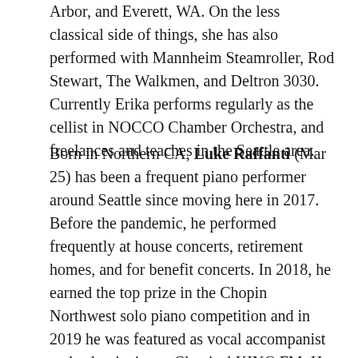Arbor, and Everett, WA. On the less classical side of things, she has also performed with Mannheim Steamroller, Rod Stewart, The Walkmen, and Deltron 3030. Currently Erika performs regularly as the cellist in NOCCO Chamber Orchestra, and freelances and teaches in the Seattle area.
Born in Northern CA, Luke Raffanti (Mar 25) has been a frequent piano performer around Seattle since moving here in 2017. Before the pandemic, he performed frequently at house concerts, retirement homes, and for benefit concerts. In 2018, he earned the top prize in the Chopin Northwest solo piano competition and in 2019 he was featured as vocal accompanist and solo pianist on Classical KING FM. He has enjoyed collaborating with several professional opera companies: Seattle Opera, Seattle Modern Opera Company, and Northwest Opera in Schools, as well as numerous individual professional vocalists. Luke teaches roughly 40 students of all ages at Cascade Piano Studio in Ravenna, and is the collaborative pianist and organist at Richmond Beach Congregational United Church of Christ in Shoreline. Lately